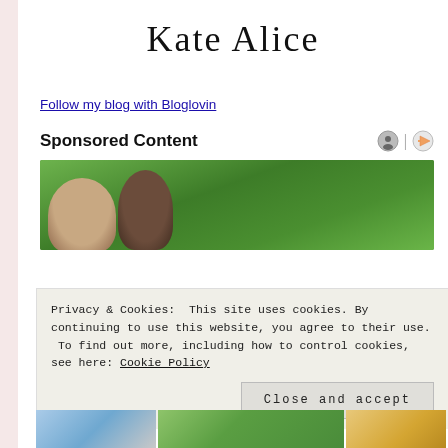Kate Alice
Follow my blog with Bloglovin
Sponsored Content
[Figure (photo): Outdoor photo showing two people from behind/side with green landscape background]
Privacy & Cookies: This site uses cookies. By continuing to use this website, you agree to their use.
To find out more, including how to control cookies, see here: Cookie Policy
Close and accept
[Figure (photo): Bottom strip of outdoor photos]